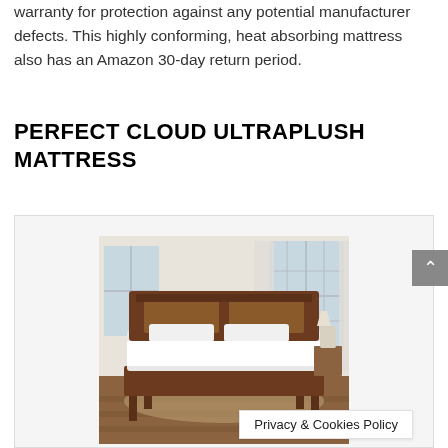warranty for protection against any potential manufacturer defects. This highly conforming, heat absorbing mattress also has an Amazon 30-day return period.
PERFECT CLOUD ULTRAPLUSH MATTRESS
[Figure (photo): A bed with white linens and pillows on a dark wood bed frame in a bright room with large windows, placed on a hardwood floor with a rug.]
Privacy & Cookies Policy